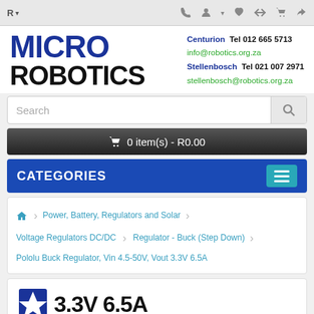R ▾  (phone) (account) (wishlist) (compare) (cart) (share)
[Figure (logo): Micro Robotics logo with blue MICRO text and black ROBOTICS text]
Centurion  Tel 012 665 5713
info@robotics.org.za
Stellenbosch  Tel 021 007 2971
stellenbosch@robotics.org.za
Search
🛒 0 item(s) - R0.00
CATEGORIES
🏠 › Power, Battery, Regulators and Solar › Voltage Regulators DC/DC › Regulator - Buck (Step Down) › Pololu Buck Regulator, Vin 4.5-50V, Vout 3.3V 6.5A
3.3V 6.5A